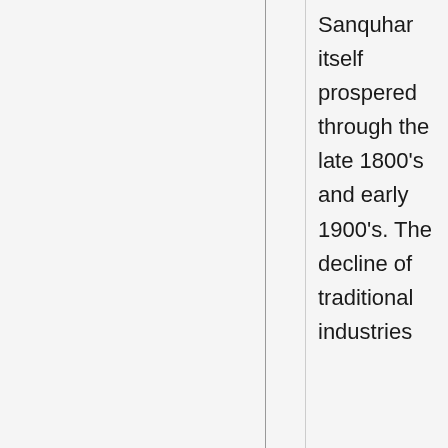Sanquhar itself prospered through the late 1800's and early 1900's. The decline of traditional industries